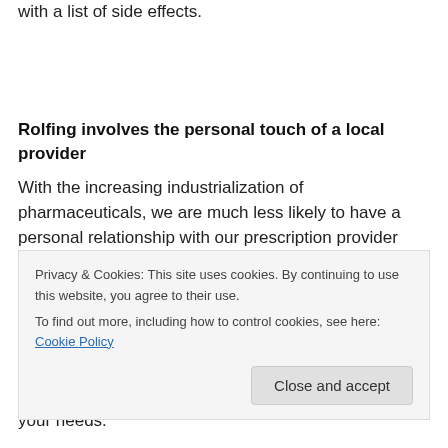with a list of side effects.
Rolfing involves the personal touch of a local provider
With the increasing industrialization of pharmaceuticals, we are much less likely to have a personal relationship with our prescription provider than we did 20 years ago. With the myriad drug interactions out there, it becomes much easier to miss something if your provider is a large
Privacy & Cookies: This site uses cookies. By continuing to use this website, you agree to their use.
To find out more, including how to control cookies, see here: Cookie Policy
your needs.